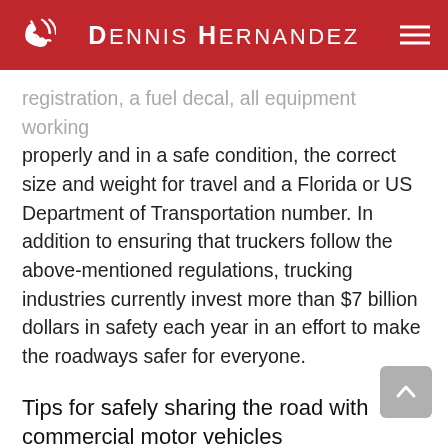Dennis Hernandez
registration, a fuel decal, all equipment working properly and in a safe condition, the correct size and weight for travel and a Florida or US Department of Transportation number. In addition to ensuring that truckers follow the above-mentioned regulations, trucking industries currently invest more than $7 billion dollars in safety each year in an effort to make the roadways safer for everyone.
Tips for safely sharing the road with commercial motor vehicles
Even these safety measures in place and